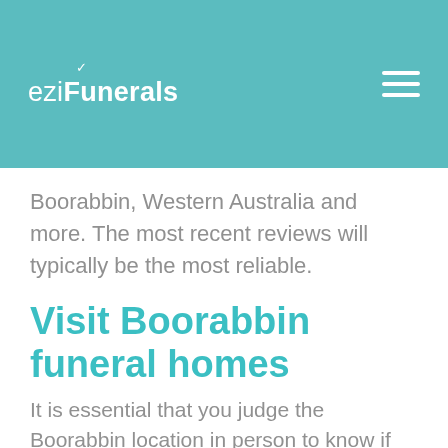eziFunerals
Boorabbin, Western Australia and more. The most recent reviews will typically be the most reliable.
Visit Boorabbin funeral homes
It is essential that you judge the Boorabbin location in person to know if the space will accommodate the guests and how long the commute will be. Usually, funeral direct... Boorabbin cover the 10 to 15 km and ch...